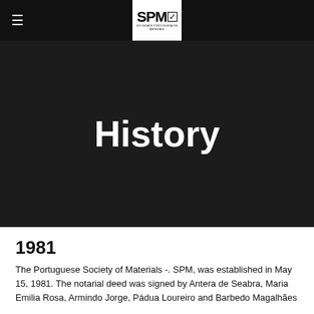[Figure (logo): SPM logo — white box with bold 'SPM' text and checkbox, subtitle 'SOCIEDADE PORTUGUESA DE MATERIAIS']
History
1981
The Portuguese Society of Materials -. SPM, was established in May 15, 1981. The notarial deed was signed by Antera de Seabra, Maria Emilia Rosa, Armindo Jorge, Pádua Loureiro and Barbedo Magalhães